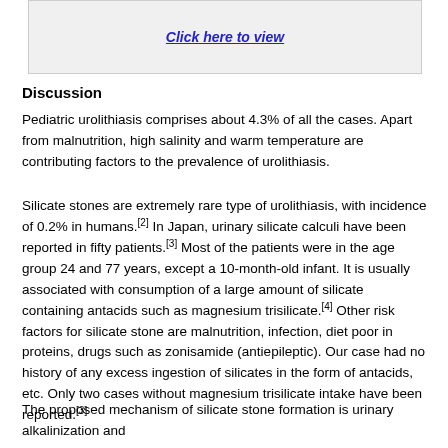[Figure (other): Linked image placeholder with 'Click here to view' hyperlink]
Discussion
Pediatric urolithiasis comprises about 4.3% of all the cases. Apart from malnutrition, high salinity and warm temperature are contributing factors to the prevalence of urolithiasis.
Silicate stones are extremely rare type of urolithiasis, with incidence of 0.2% in humans.[2] In Japan, urinary silicate calculi have been reported in fifty patients.[3] Most of the patients were in the age group 24 and 77 years, except a 10-month-old infant. It is usually associated with consumption of a large amount of silicate containing antacids such as magnesium trisilicate.[4] Other risk factors for silicate stone are malnutrition, infection, diet poor in proteins, drugs such as zonisamide (antiepileptic). Our case had no history of any excess ingestion of silicates in the form of antacids, etc. Only two cases without magnesium trisilicate intake have been reported.[3]
The proposed mechanism of silicate stone formation is urinary alkalinization and